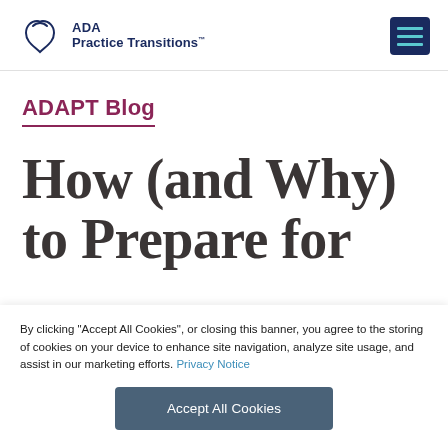[Figure (logo): ADA Practice Transitions logo with tooth icon and hamburger menu button]
ADAPT Blog
How (and Why) to Prepare for
By clicking “Accept All Cookies”, or closing this banner, you agree to the storing of cookies on your device to enhance site navigation, analyze site usage, and assist in our marketing efforts. Privacy Notice
Accept All Cookies